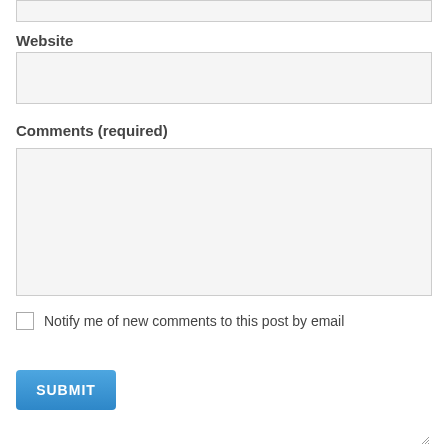(top input field — partial, cropped at top)
Website
Comments (required)
Notify me of new comments to this post by email
SUBMIT